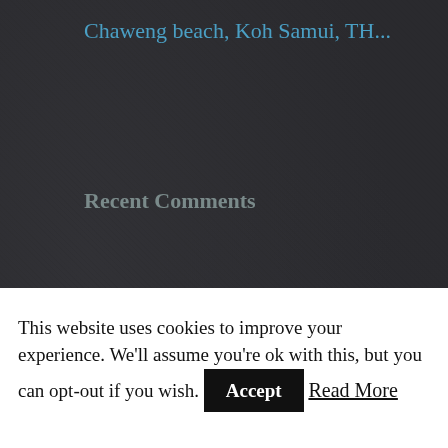Chaweng beach, Koh Samui, TH...
Recent Comments
Archives
December 2014
August 2014
July 2014
May 2014
April 2014
March 2014
February 2014
This website uses cookies to improve your experience. We'll assume you're ok with this, but you can opt-out if you wish.
Accept
Read More